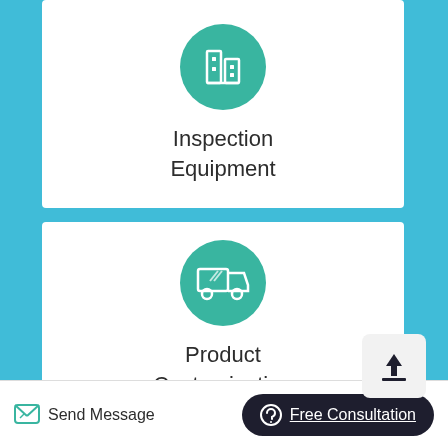[Figure (illustration): Green teal circle icon with white building/inspection equipment icon]
Inspection
Equipment
[Figure (illustration): Green teal circle icon with white delivery truck icon]
Product
Customization
[Figure (illustration): Upload button icon with arrow pointing up]
Send Message
Free Consultation